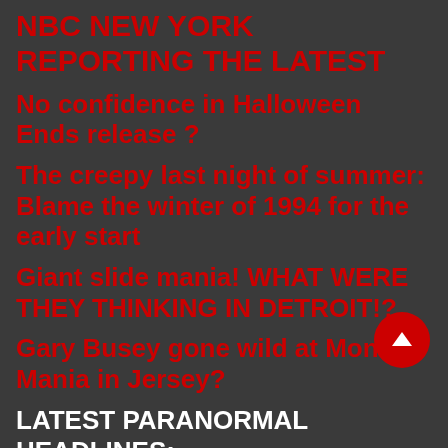NBC NEW YORK REPORTING THE LATEST
No confidence in Halloween Ends release ?
The creepy last night of summer: Blame the winter of 1994 for the early start
Giant slide mania! WHAT WERE THEY THINKING IN DETROIT!?
Gary Busey gone wild at Monster Mania in Jersey?
LATEST PARANORMAL HEADLINES:
THE PARANORMAL COMPUTER HOUR
The demon Buer was "Kalego" in Archive 81